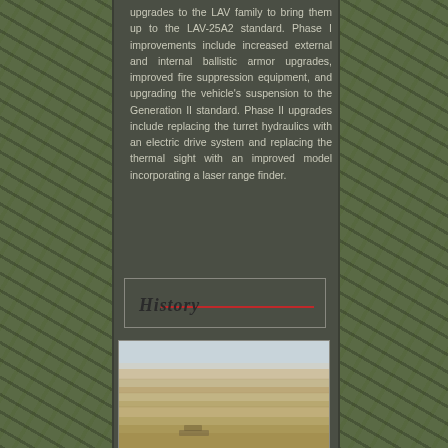upgrades to the LAV family to bring them up to the LAV-25A2 standard. Phase I improvements include increased external and internal ballistic armor upgrades, improved fire suppression equipment, and upgrading the vehicle's suspension to the Generation II standard. Phase II upgrades include replacing the turret hydraulics with an electric drive system and replacing the thermal sight with an improved model incorporating a laser range finder.
History
[Figure (photo): Desert landscape photograph, likely showing a military vehicle in an arid environment with sandy terrain and hazy sky]